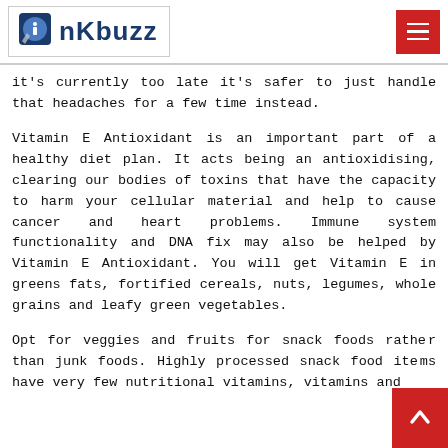nKbuzz
it's currently too late it's safer to just handle that headaches for a few time instead.
Vitamin E Antioxidant is an important part of a healthy diet plan. It acts being an antioxidising, clearing our bodies of toxins that have the capacity to harm your cellular material and help to cause cancer and heart problems. Immune system functionality and DNA fix may also be helped by Vitamin E Antioxidant. You will get Vitamin E in greens fats, fortified cereals, nuts, legumes, whole grains and leafy green vegetables.
Opt for veggies and fruits for snack foods rather than junk foods. Highly processed snack food items have very few nutritional vitamins, vitamins and